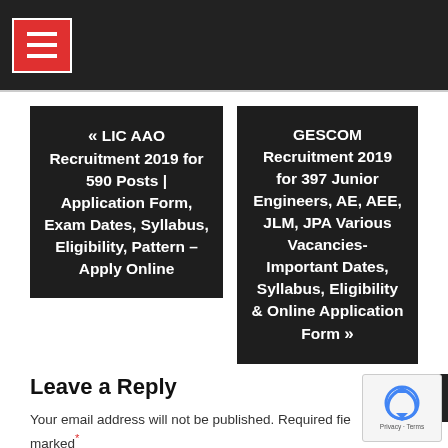Navigation header bar with hamburger menu icon
« LIC AAO Recruitment 2019 for 590 Posts | Application Form, Exam Dates, Syllabus, Eligibility, Pattern – Apply Online
GESCOM Recruitment 2019 for 397 Junior Engineers, AE, AEE, JLM, JPA Various Vacancies- Important Dates, Syllabus, Eligibility & Online Application Form »
Leave a Reply
Your email address will not be published. Required fields are marked *